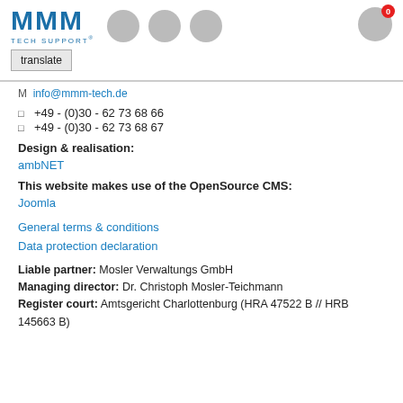MMM TECH SUPPORT (logo with navigation circles and translate button)
M  info@mmm-tech.de
+49 - (0)30 - 62 73 68 66
+49 - (0)30 - 62 73 68 67
Design & realisation:
ambNET
This website makes use of the OpenSource CMS:
Joomla
General terms & conditions
Data protection declaration
Liable partner: Mosler Verwaltungs GmbH
Managing director: Dr. Christoph Mosler-Teichmann
Register court: Amtsgericht Charlottenburg (HRA 47522 B // HRB 145663 B)